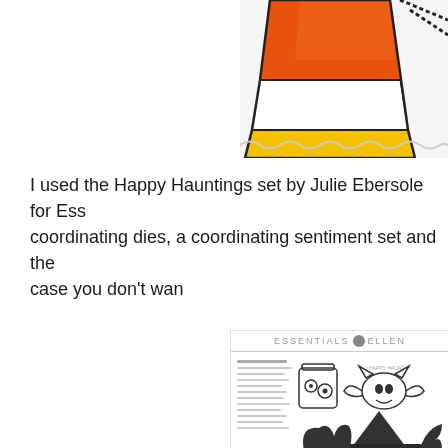[Figure (photo): Close-up photo of a candy corn decorated craft item with orange, white and yellow colors, with scalloped edge border visible]
I used the Happy Hauntings set by Julie Ebersole for Ess coordinating dies, a coordinating sentiment set and the case you don't wan
[Figure (photo): Product listing image showing Essentials by Ellen stamp set with Halloween themed stamps including a jar with eyeballs, a bat/cat character, and dark witch hat/bat wing shapes]